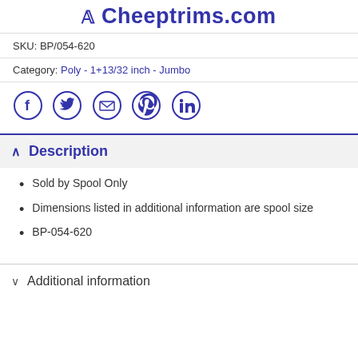Cheeptrims.com
SKU: BP/054-620
Category: Poly - 1+13/32 inch - Jumbo
[Figure (infographic): Row of 5 social media icon circles: Facebook, Twitter, Email, Pinterest, LinkedIn — all in dark blue outline style]
Description
Sold by Spool Only
Dimensions listed in additional information are spool size
BP-054-620
Additional information